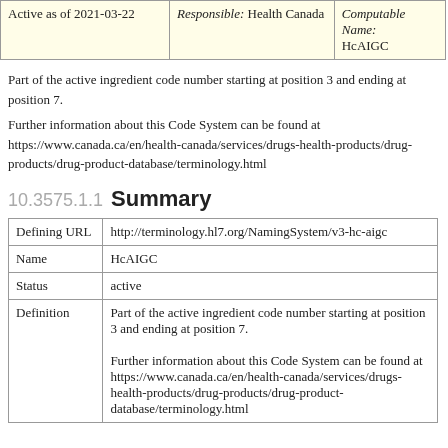| Active as of 2021-03-22 | Responsible: Health Canada | Computable Name:
HcAIGC |
Part of the active ingredient code number starting at position 3 and ending at position 7.
Further information about this Code System can be found at https://www.canada.ca/en/health-canada/services/drugs-health-products/drug-products/drug-product-database/terminology.html
10.3575.1.1 Summary
| Defining URL | Name | Status | Definition |
| --- | --- | --- | --- |
| Defining URL | http://terminology.hl7.org/NamingSystem/v3-hc-aigc |
| Name | HcAIGC |
| Status | active |
| Definition | Part of the active ingredient code number starting at position 3 and ending at position 7.

Further information about this Code System can be found at https://www.canada.ca/en/health-canada/services/drugs-health-products/drug-products/drug-product-database/terminology.html |